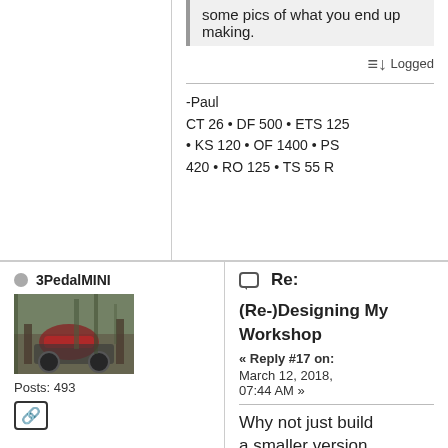some pics of what you end up making.
Logged
-Paul
CT 26 • DF 500 • ETS 125 • KS 120 • OF 1400 • PS 420 • RO 125 • TS 55 R
3PedalMINI
Posts: 493
Re:
(Re-)Designing My Workshop
« Reply #17 on: March 12, 2018, 07:44 AM »
Why not just build a smaller version